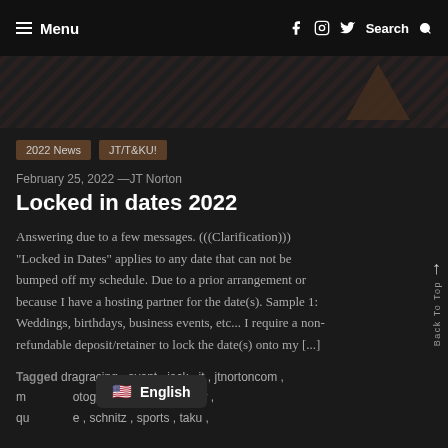≡ Menu   f  ⓘ  🐦  Search 🔍
[Figure (illustration): Dark diagonal-striped hero banner with a triangular shape on the right side]
2022 News   JT/T&KU!
February 25, 2022 —JT Norton
Locked in dates 2022
Answering due to a few messages. (((Clarification))) "Locked in Dates" applies to any date that can not be bumped off my schedule. Due to a prior arrangement or because I have a hosting partner for the date(s). Sample 1: Weddings, birthdays, business events, etc... I require a non-refundable deposit/retainer to lock the date(s) onto my [...]
Tagged dragracing , event , jack , jt , jtnortoncom , m... otographer , photography , qu... e , schnitz , sports , taku ,